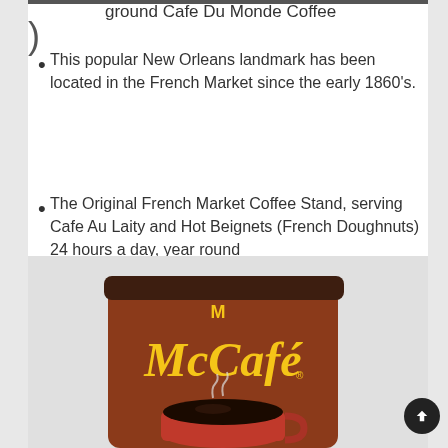ground Cafe Du Monde Coffee
This popular New Orleans landmark has been located in the French Market since the early 1860's.
The Original French Market Coffee Stand, serving Cafe Au Laity and Hot Beignets (French Doughnuts) 24 hours a day, year round
[Figure (photo): McCafe branded coffee tin (brown canister) with McDonald's golden arches logo and McCafe script in yellow, with a red coffee mug containing black coffee with steam rising, positioned on the tin.]